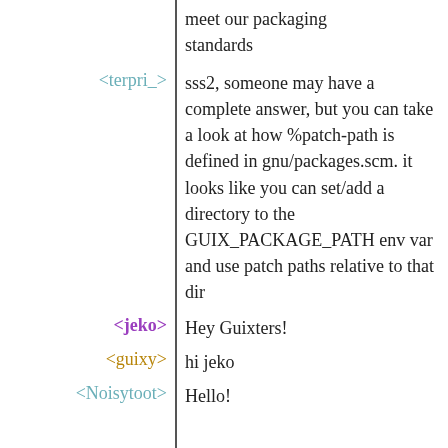meet our packaging standards
<terpri_>  sss2, someone may have a complete answer, but you can take a look at how %patch-path is defined in gnu/packages.scm. it looks like you can set/add a directory to the GUIX_PACKAGE_PATH env var and use patch paths relative to that dir
<jeko>  Hey Guixters!
<guixy>  hi jeko
<Noisytoot>  Hello!